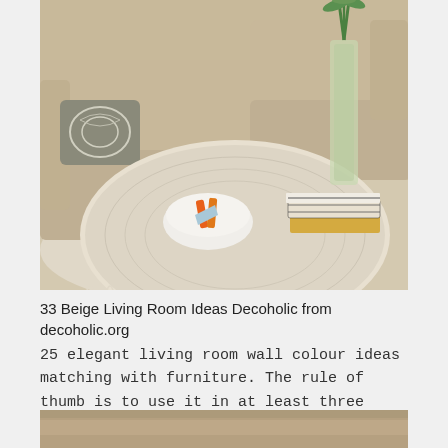[Figure (photo): Interior design photo showing a beige sectional sofa with a patterned throw pillow, a large round white/light wood coffee table with a decorative white bowl containing orange items and a stack of books, and a tall glass vase with green plant stems. The room has a neutral beige/cream color palette.]
33 Beige Living Room Ideas Decoholic from decoholic.org
25 elegant living room wall colour ideas matching with furniture. The rule of thumb is to use it in at least three different ways. Ad art prints canvas prints framed prints metal acrylic prints wood prints tapestries.
[Figure (photo): Partial view of another interior design photo at the bottom of the page, showing warm toned room decor.]